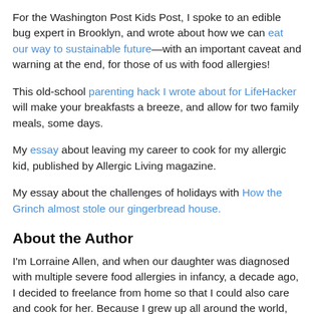For the Washington Post Kids Post, I spoke to an edible bug expert in Brooklyn, and wrote about how we can eat our way to sustainable future—with an important caveat and warning at the end, for those of us with food allergies!
This old-school parenting hack I wrote about for LifeHacker will make your breakfasts a breeze, and allow for two family meals, some days.
My essay about leaving my career to cook for my allergic kid, published by Allergic Living magazine.
My essay about the challenges of holidays with How the Grinch almost stole our gingerbread house.
About the Author
I'm Lorraine Allen, and when our daughter was diagnosed with multiple severe food allergies in infancy, a decade ago, I decided to freelance from home so that I could also care and cook for her. Because I grew up all around the world, it's important to me that she be able to enjoy all sorts of international food. I've learned